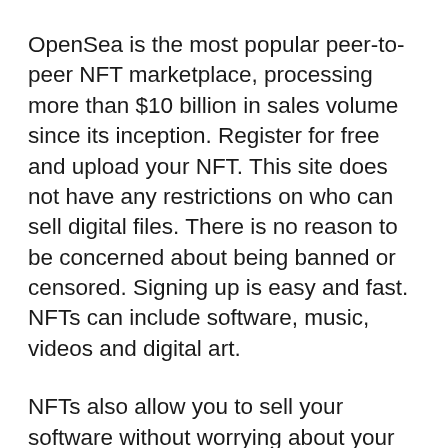OpenSea is the most popular peer-to-peer NFT marketplace, processing more than $10 billion in sales volume since its inception. Register for free and upload your NFT. This site does not have any restrictions on who can sell digital files. There is no reason to be concerned about being banned or censored. Signing up is easy and fast. NFTs can include software, music, videos and digital art.
NFTs also allow you to sell your software without worrying about your income. You can even set resell fees for your NFTs. These fees are usually between five and ten percent of the total sale price. If your NFTs succeed, you can sell your software with a small profit. NFTs can be dangerous. Basic safety tips